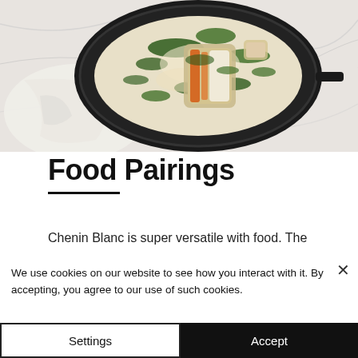[Figure (photo): Overhead photo of a cast iron skillet with creamy spinach chicken or fish dish on a marble surface with white cloth]
Food Pairings
Chenin Blanc is super versatile with food. The
We use cookies on our website to see how you interact with it. By accepting, you agree to our use of such cookies.